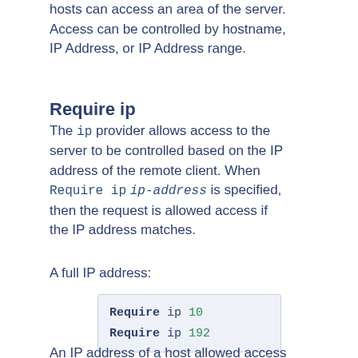hosts can access an area of the server. Access can be controlled by hostname, IP Address, or IP Address range.
Require ip
The ip provider allows access to the server to be controlled based on the IP address of the remote client. When Require ip ip-address is specified, then the request is allowed access if the IP address matches.
A full IP address:
[Figure (screenshot): Code block showing: Require ip 10... / Require ip 192...]
An IP address of a host allowed access